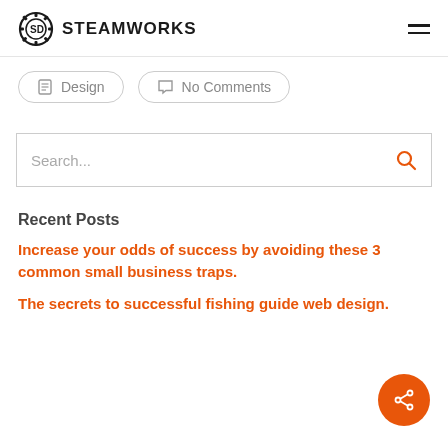SteamWorks
Design
No Comments
Search...
Recent Posts
Increase your odds of success by avoiding these 3 common small business traps.
The secrets to successful fishing guide web design.